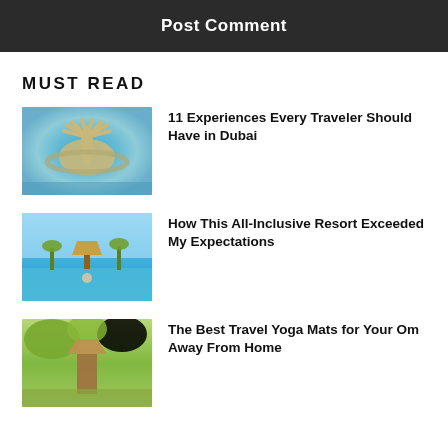Post Comment
MUST READ
[Figure (photo): Aerial view of Palm Jumeirah, Dubai, showing the palm-shaped island in blue water]
11 Experiences Every Traveler Should Have in Dubai
[Figure (photo): All-inclusive resort pool with thatched roof bar and palm trees under blue sky]
How This All-Inclusive Resort Exceeded My Expectations
[Figure (photo): Tropical scene with green foliage and a tiki-style structure]
The Best Travel Yoga Mats for Your Om Away From Home